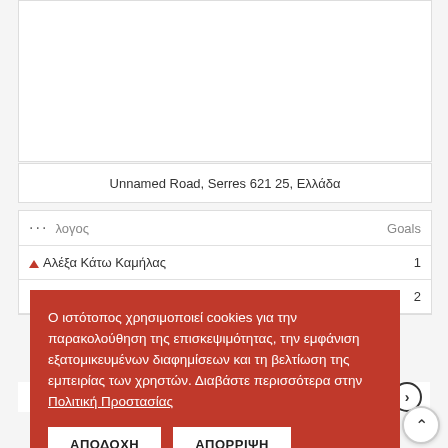[Figure (screenshot): Map area showing a geographic region (mostly blank/white in view)]
Unnamed Road, Serres 621 25, Ελλάδα
| λογος | Goals |
| --- | --- |
| Αλέξα Κάτω Καμήλας | 1 |
| Πανσερραϊκός | 2 |
OLDER
Ο ιστότοπος χρησιμοποιεί cookies για την παρακολούθηση της επισκεψιμότητας, την εμφάνιση εξατομικευμένων διαφημίσεων και τη βελτίωση της εμπειρίας των χρηστών. Διαβάστε περισσότερα στην Πολιτική Προστασίας
ΑΠΟΔΟΧΗ
ΑΠΟΡΡΙΨΗ